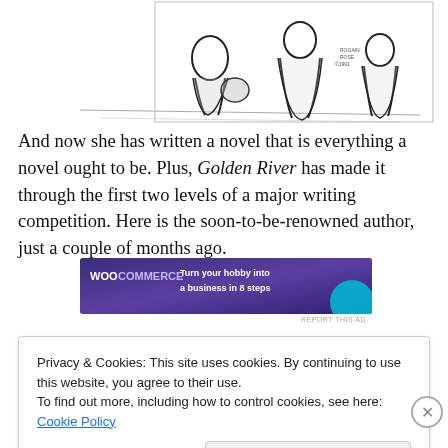[Figure (illustration): Black and white cartoon/sketch illustration of figures walking, partial view showing legs and robes, beach or outdoor scene]
And now she has written a novel that is everything a novel ought to be. Plus, Golden River has made it through the first two levels of a major writing competition. Here is the soon-to-be-renowned author, just a couple of months ago.
[Figure (other): WooCommerce advertisement banner: purple/dark background with WooCommerce logo and text 'Turn your hobby into a business in 8 steps' with a teal circle graphic]
Privacy & Cookies: This site uses cookies. By continuing to use this website, you agree to their use.
To find out more, including how to control cookies, see here: Cookie Policy
Close and accept